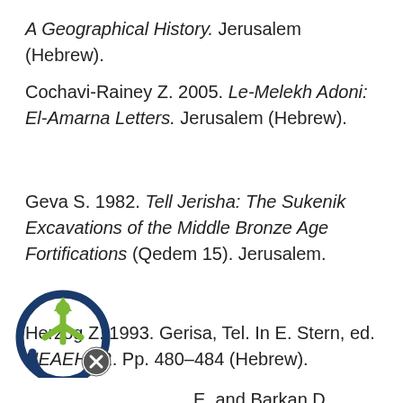A Geographical History. Jerusalem (Hebrew).
Cochavi-Rainey Z. 2005. Le-Melekh Adoni: El-Amarna Letters. Jerusalem (Hebrew).
Geva S. 1982. Tell Jerisha: The Sukenik Excavations of the Middle Bronze Age Fortifications (Qedem 15). Jerusalem.
Herzog Z. 1993. Gerisa, Tel. In E. Stern, ed. NEAEHL 2. Pp. 480–484 (Hebrew).
E. and Barkan D. 2010. Tel Aviv, Tel Gerisa. HA-ESI 122.
[Figure (logo): Circular logo with arrow icon and close button overlay]